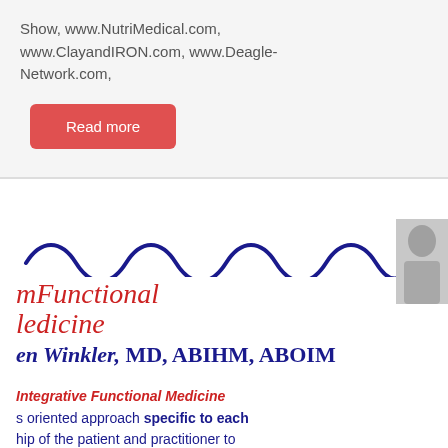Show, www.NutriMedical.com, www.ClayandIRON.com, www.Deagle-Network.com,
Read more
[Figure (logo): mFunctional Medicine logo with wave graphic and text 'en Winkler, MD, ABIHM, ABOIM']
Integrative Functional Medicine s oriented approach specific to each hip of the patient and practitioner to ease. It addresses the whole person netics, environmental exposures, life and physical makeup. Each of these disease and our goal is to address